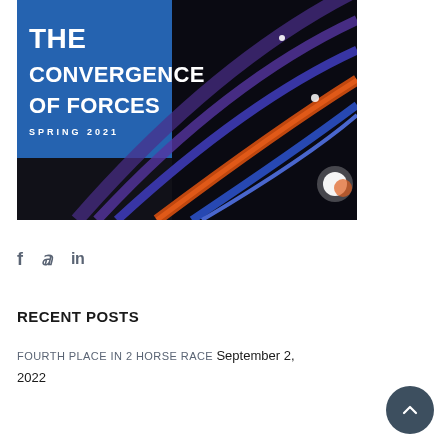[Figure (illustration): Cover image of 'The Convergence of Forces Spring 2021' publication. Blue rectangle in upper left with bold white text reading 'THE CONVERGENCE OF FORCES' and 'SPRING 2021' below. Right side shows abstract glowing light trails in blue and orange on a dark black background.]
[Figure (infographic): Social media icons: f (Facebook), bird (Twitter), in (LinkedIn) displayed in gray.]
RECENT POSTS
FOURTH PLACE IN 2 HORSE RACE September 2, 2022